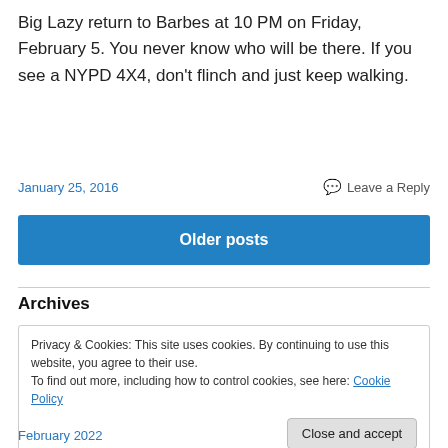Big Lazy return to Barbes at 10 PM on Friday, February 5. You never know who will be there. If you see a NYPD 4X4, don't flinch and just keep walking.
January 25, 2016
Leave a Reply
Older posts
Archives
Privacy & Cookies: This site uses cookies. By continuing to use this website, you agree to their use.
To find out more, including how to control cookies, see here: Cookie Policy
Close and accept
February 2022